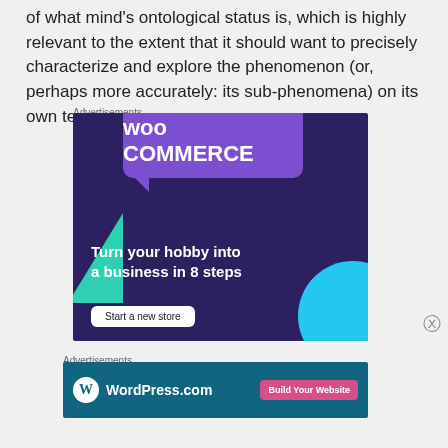of what mind's ontological status is, which is highly relevant to the extent that it should want to precisely characterize and explore the phenomenon (or, perhaps more accurately: its sub-phenomena) on its own terms.
Advertisements
[Figure (illustration): WooCommerce advertisement: purple background with WooCommerce logo in speech bubble, green triangle shape, cyan circle, tagline 'Turn your hobby into a business in 8 steps', and 'Start a new store' button]
Advertisements
[Figure (illustration): WordPress.com advertisement: teal background with WordPress logo and 'WordPress.com' text on left, pink 'Build Your Website' button on right]